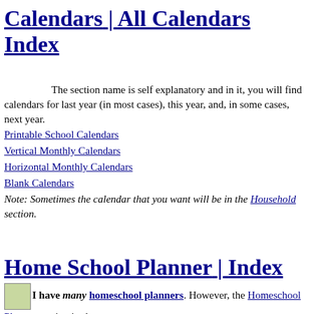Calendars | All Calendars Index
The section name is self explanatory and in it, you will find calendars for last year (in most cases), this year, and, in some cases, next year.
Printable School Calendars
Vertical Monthly Calendars
Horizontal Monthly Calendars
Blank Calendars
Note: Sometimes the calendar that you want will be in the Household section.
Home School Planner | Index
I have many homeschool planners. However, the Homeschool Planner section is about more